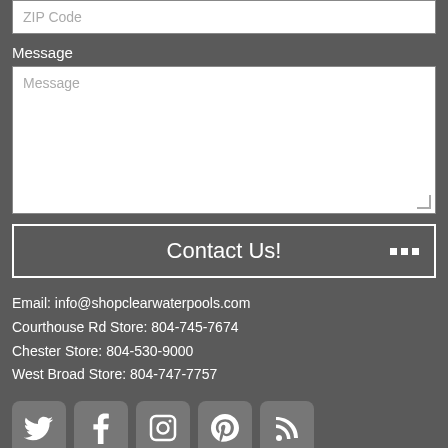[Figure (screenshot): ZIP Code input field (white text input box with placeholder 'ZIP Code')]
Message
[Figure (screenshot): Message textarea (white multiline input box with placeholder 'Message')]
[Figure (screenshot): Contact Us! button with loading dots on the right]
Email: info@shopclearwaterpools.com
Courthouse Rd Store: 804-745-7674
Chester Store: 804-530-9000
West Broad Store: 804-747-7757
[Figure (infographic): Social media icon buttons: Twitter, Facebook, Instagram, Pinterest, RSS Feed]